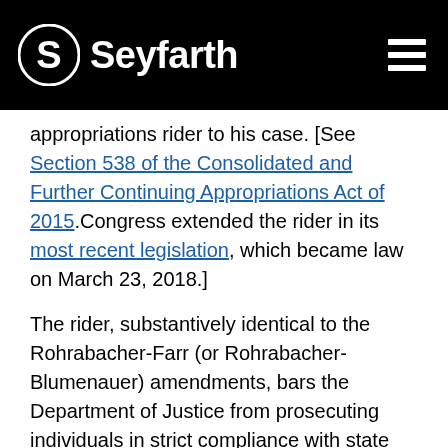Seyfarth
appropriations rider to his case. [See Section 538 of the Consolidated and Further Continuing Appropriations Act of 2015. Congress extended the rider in its most recent legislation, which became law on March 23, 2018.]
The rider, substantively identical to the Rohrabacher-Farr (or Rohrabacher-Blumenauer) amendments, bars the Department of Justice from prosecuting individuals in strict compliance with state medical marijuana laws, and operates to annul a properly obtained conviction. Judge John M. Rogers of the Sixth Circuit, sitting by designation, wrote for the majority: “The rider covers only